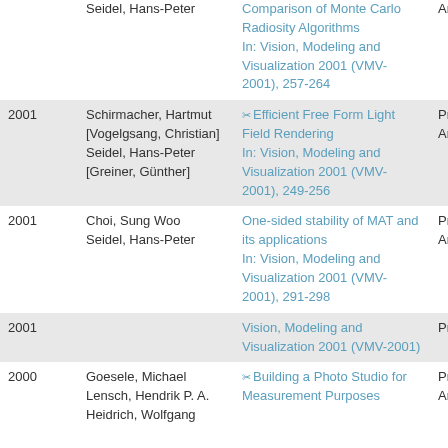| Year | Author | Title/Venue | Type |
| --- | --- | --- | --- |
|  | Seidel, Hans-Peter | Comparison of Monte Carlo Radiosity Algorithms
In: Vision, Modeling and Visualization 2001 (VMV-2001), 257-264 | Ar |
| 2001 | Schirmacher, Hartmut
[Vogelgsang, Christian]
Seidel, Hans-Peter
[Greiner, Günther] | Efficient Free Form Light Field Rendering
In: Vision, Modeling and Visualization 2001 (VMV-2001), 249-256 | Pr
Ar |
| 2001 | Choi, Sung Woo
Seidel, Hans-Peter | One-sided stability of MAT and its applications
In: Vision, Modeling and Visualization 2001 (VMV-2001), 291-298 | Pr
Ar |
| 2001 |  | Vision, Modeling and Visualization 2001 (VMV-2001) | Pr |
| 2000 | Goesele, Michael
Lensch, Hendrik P. A.
Heidrich, Wolfgang | Building a Photo Studio for Measurement Purposes | Pr
Ar |